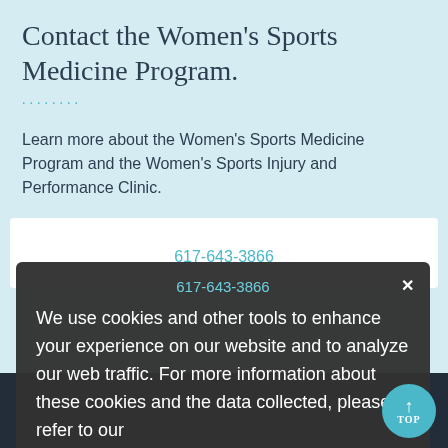Contact the Women's Sports Medicine Program.
Learn more about the Women's Sports Medicine Program and the Women's Sports Injury and Performance Clinic.
617-643-3866
We use cookies and other tools to enhance your experience on our website and to analyze our web traffic. For more information about these cookies and the data collected, please refer to our Privacy Policy.